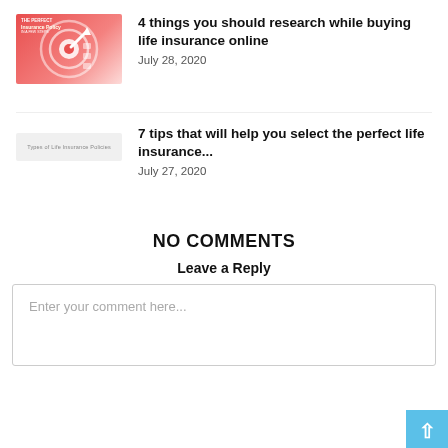[Figure (illustration): Red/pink thumbnail with target/bullseye icon for article about buying life insurance online]
4 things you should research while buying life insurance online
July 28, 2020
[Figure (illustration): Light gray bar thumbnail with text 'Types of Life Insurance Policies']
7 tips that will help you select the perfect life insurance...
July 27, 2020
NO COMMENTS
Leave a Reply
Enter your comment here...